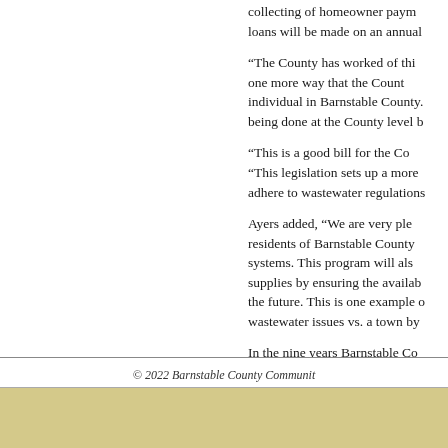collecting of homeowner payments on loans will be made on an annual
“The County has worked of this one more way that the County individual in Barnstable County. being done at the County level b
“This is a good bill for the Co “This legislation sets up a more adhere to wastewater regulations
Ayers added, “We are very ple residents of Barnstable County systems. This program will als supplies by ensuring the availab the future. This is one example wastewater issues vs. a town by
In the nine years Barnstable Co of all Cape towns, over $35 mill translates into 3,000 projects. T period. It is expected that fundin
© 2022 Barnstable County Communit